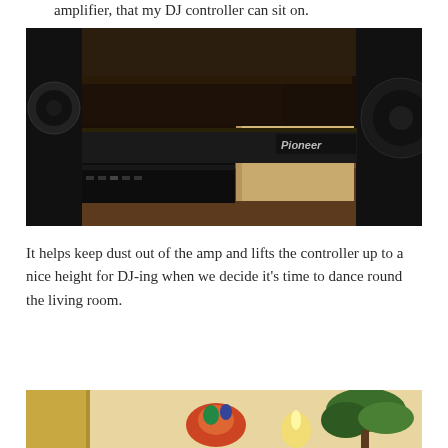amplifier, that my DJ controller can sit on.
[Figure (photo): Photo of a Pioneer DJ controller/amplifier unit sitting on a wooden box/stand, flanked by large black speakers, on a wooden shelf or cabinet.]
It helps keep dust out of the amp and lifts the controller up to a nice height for DJ-ing when we decide it's time to dance round the living room.
[Figure (photo): Partial photo at the bottom of the page showing a colorful scene with plants and decorative items.]